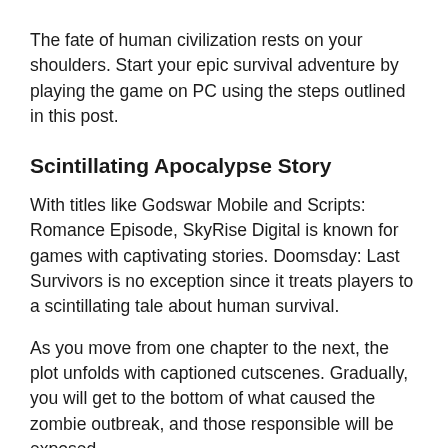The fate of human civilization rests on your shoulders. Start your epic survival adventure by playing the game on PC using the steps outlined in this post.
Scintillating Apocalypse Story
With titles like Godswar Mobile and Scripts: Romance Episode, SkyRise Digital is known for games with captivating stories. Doomsday: Last Survivors is no exception since it treats players to a scintillating tale about human survival.
As you move from one chapter to the next, the plot unfolds with captioned cutscenes. Gradually, you will get to the bottom of what caused the zombie outbreak, and those responsible will be exposed.
The storyline makes the game more fun to play. It also comes in small doses, which means players can look